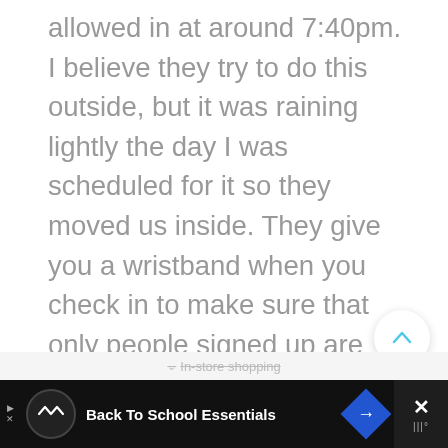allowed in at around 7:40pm. I believe they try to do this outside, but it was raining lightly the day I was scheduled for it so they moved us inside. They give you a wristband when you check in to make sure that only people signed up are heading to the desserts, the fireworks, and the ride. We had to show the wristband several times throughout the night.
[Figure (screenshot): Up-vote button (chevron up icon in white circle with shadow)]
64
[Figure (screenshot): Heart/like button in white circle with shadow]
[Figure (screenshot): Search button in cyan circle]
In-store shopping
[Figure (screenshot): Advertisement bar: Back To School Essentials with logo, arrow icon, and close button]